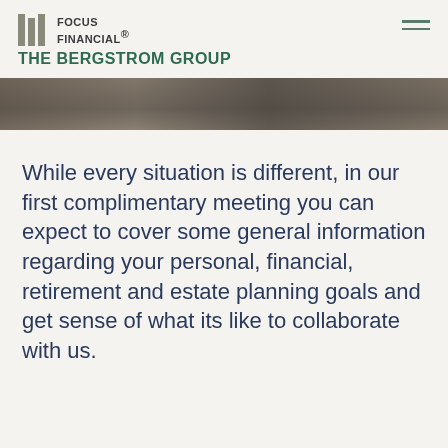Focus Financial® | The Bergstrom Group
[Figure (photo): Dark stone or marble texture hero image strip]
While every situation is different, in our first complimentary meeting you can expect to cover some general information regarding your personal, financial, retirement and estate planning goals and get sense of what its like to collaborate with us.